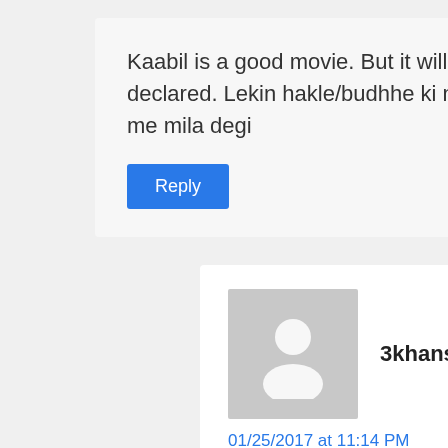Kaabil is a good movie. But it will flop as I declared. Lekin hakle/budhhe ki movie ko mitti me mila degi
Reply
3khans says:
01/25/2017 at 11:14 PM
Bro, everyone is disliking u. Bcz u r